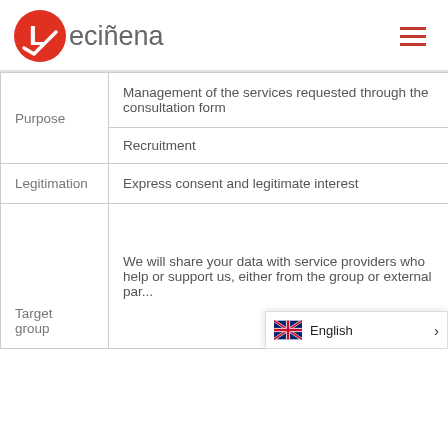[Figure (logo): Leciñena logo: red circle with white letter L and arrow, followed by text 'eciñena' in gray]
| Field | Value |
| --- | --- |
| Purpose | Management of the services requested through the consultation form |
| Purpose | Recruitment |
| Legitimation | Express consent and legitimate interest |
| Target group | We will share your data with service providers who help or support us, either from the group or external parties, whom we h... |